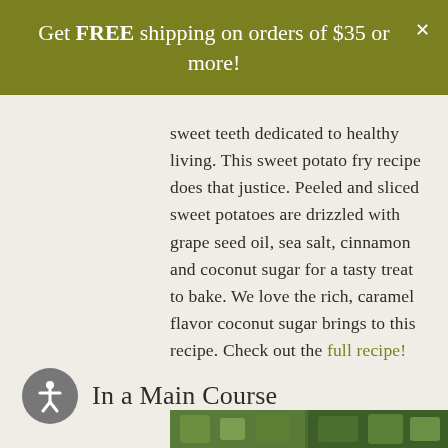Get FREE shipping on orders of $35 or more!
sweet teeth dedicated to healthy living. This sweet potato fry recipe does that justice. Peeled and sliced sweet potatoes are drizzled with grape seed oil, sea salt, cinnamon and coconut sugar for a tasty treat to bake. We love the rich, caramel flavor coconut sugar brings to this recipe. Check out the full recipe!
In a Main Course